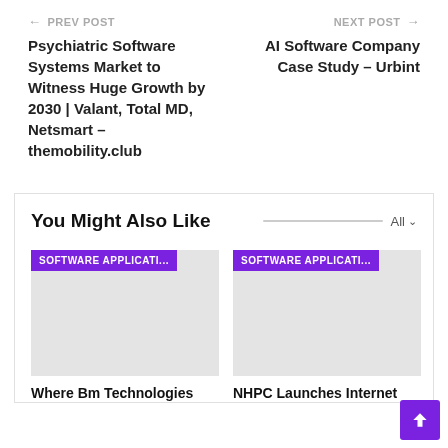← PREV POST
Psychiatric Software Systems Market to Witness Huge Growth by 2030 | Valant, Total MD, Netsmart – themobility.club
NEXT POST →
AI Software Company Case Study – Urbint
You Might Also Like
[Figure (screenshot): Card with purple tag 'SOFTWARE APPLICATI...' over gray image placeholder]
Where Bm Technologies
[Figure (screenshot): Card with purple tag 'SOFTWARE APPLICATI...' over gray image placeholder]
NHPC Launches Internet